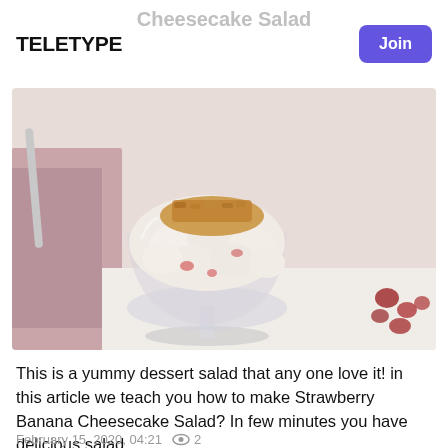TELETYPE
Cheesecake Salad
[Figure (photo): A glass dessert bowl filled with strawberry banana cheesecake salad topped with crumbled graham crackers, with pomegranate seeds scattered on a white surface beside a pink napkin]
This is a yummy dessert salad that any one love it! in this article we teach you how to make Strawberry Banana Cheesecake Salad? In few minutes you have delicious salad.
February 15, 2020, 04:21  👁 2